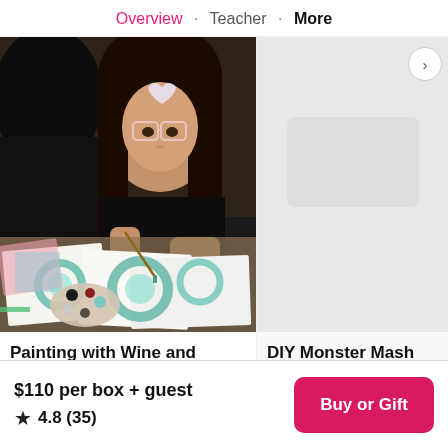Overview · Teacher · More
[Figure (photo): Young woman with glasses and heart headband painting colorful floral watercolor art at a table, with paint palette and artworks visible]
Painting with Wine and Ch...
[Figure (photo): Right side partially visible — DIY Monster Mash Craft B... listing card]
DIY Monster Mash Craft B...
$110 per box + guest
★ 4.8 (35)
Buy or Gift